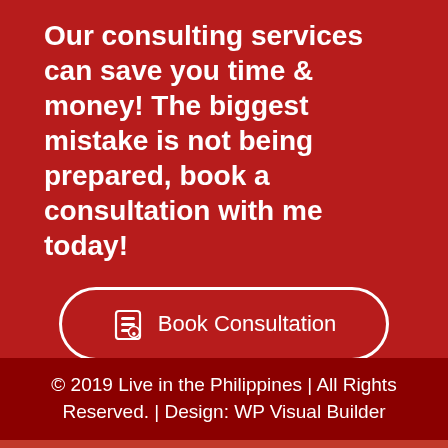Our consulting services can save you time & money! The biggest mistake is not being prepared, book a consultation with me today!
Book Consultation
© 2019 Live in the Philippines | All Rights Reserved. | Design: WP Visual Builder